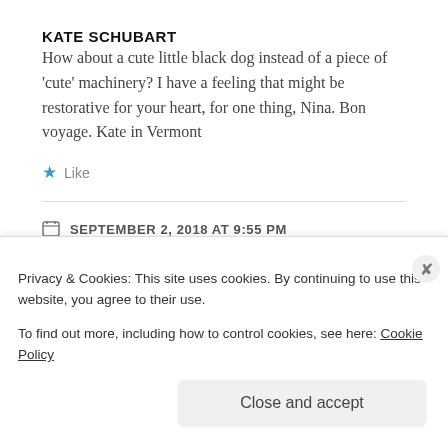KATE SCHUBART
How about a cute little black dog instead of a piece of 'cute' machinery? I have a feeling that might be restorative for your heart, for one thing, Nina. Bon voyage. Kate in Vermont
★ Like
SEPTEMBER 2, 2018 AT 9:55 PM
Privacy & Cookies: This site uses cookies. By continuing to use this website, you agree to their use.
To find out more, including how to control cookies, see here: Cookie Policy
Close and accept